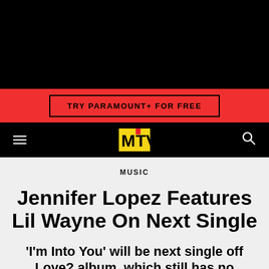[Figure (screenshot): Black top header area of MTV website screenshot]
TRY PARAMOUNT+ FOR FREE
[Figure (logo): MTV logo in navigation bar]
MUSIC
Jennifer Lopez Features Lil Wayne On Next Single
'I'm Into You' will be next single off Love? album, which still has no release date.